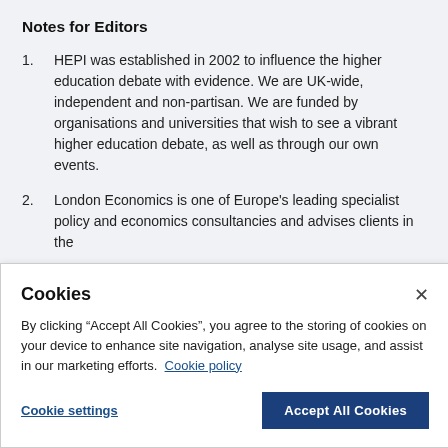Notes for Editors
HEPI was established in 2002 to influence the higher education debate with evidence. We are UK-wide, independent and non-partisan. We are funded by organisations and universities that wish to see a vibrant higher education debate, as well as through our own events.
London Economics is one of Europe's leading specialist policy and economics consultancies and advises clients in the
Cookies
By clicking “Accept All Cookies”, you agree to the storing of cookies on your device to enhance site navigation, analyse site usage, and assist in our marketing efforts. Cookie policy
Cookie settings
Accept All Cookies